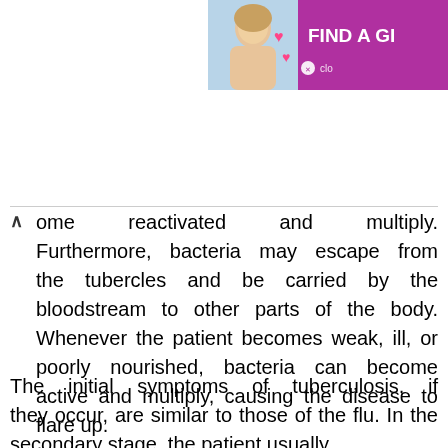[Figure (photo): Advertisement banner on top right showing a woman photo and text 'FIND A GI' with pink/purple background and a logo mark]
ome reactivated and multiply. Furthermore, bacteria may escape from the tubercles and be carried by the bloodstream to other parts of the body. Whenever the patient becomes weak, ill, or poorly nourished, bacteria can become active and multiply, causing the disease to flare up.
The initial symptoms of tuberculosis, if they occur, are similar to those of the flu. In the secondary stage, the patient usually